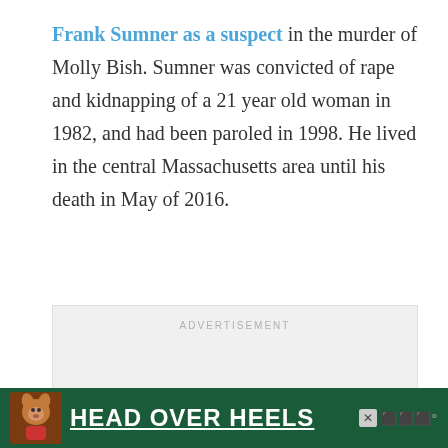Frank Sumner as a suspect in the murder of Molly Bish. Sumner was convicted of rape and kidnapping of a 21 year old woman in 1982, and had been paroled in 1998. He lived in the central Massachusetts area until his death in May of 2016.
[Figure (other): Advertisement placeholder box with 'ADVERTISEMENT' label text centered at top]
[Figure (other): Banner advertisement strip showing a dog image on green background with text 'HEAD OVER HEELS' in white bold letters, a close button, and a W° logo]